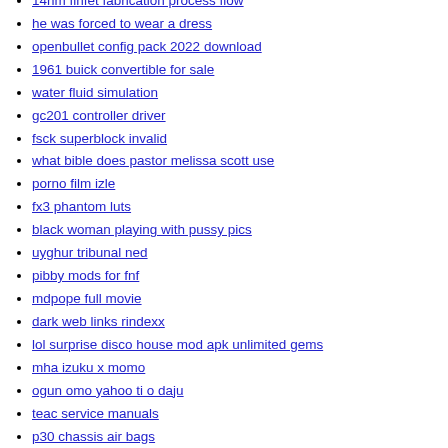14nm finfet fabrication process flow
he was forced to wear a dress
openbullet config pack 2022 download
1961 buick convertible for sale
water fluid simulation
gc201 controller driver
fsck superblock invalid
what bible does pastor melissa scott use
porno film izle
fx3 phantom luts
black woman playing with pussy pics
uyghur tribunal ned
pibby mods for fnf
mdpope full movie
dark web links rindexx
lol surprise disco house mod apk unlimited gems
mha izuku x momo
ogun omo yahoo ti o daju
teac service manuals
p30 chassis air bags
m center minecraft bedrock
toyota propane forklift troubleshooting
odu ifa osa meji meaning
powerapps collection lookup column
fnia stories
jurassic world camp cretaceous season 5